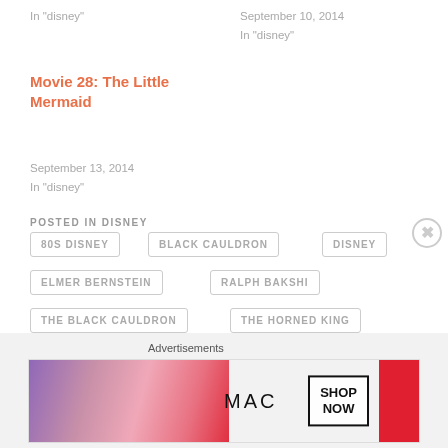In "disney"
September 10, 2014
In "disney"
Movie 28: The Little Mermaid
September 13, 2014
In "disney"
POSTED IN DISNEY
80S DISNEY
BLACK CAULDRON
DISNEY
ELMER BERNSTEIN
RALPH BAKSHI
THE BLACK CAULDRON
THE HORNED KING
Advertisements
[Figure (other): MAC cosmetics advertisement banner with lipsticks, MAC logo, and SHOP NOW button]